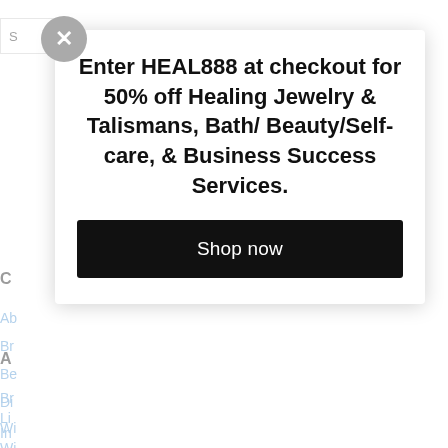S
C
Ab
Br
Be
Di
Wi
Enter HEAL888 at checkout for 50% off Healing Jewelry & Talismans, Bath/ Beauty/Self-care, & Business Success Services.
Shop now
A
Br
Li
In
Wi